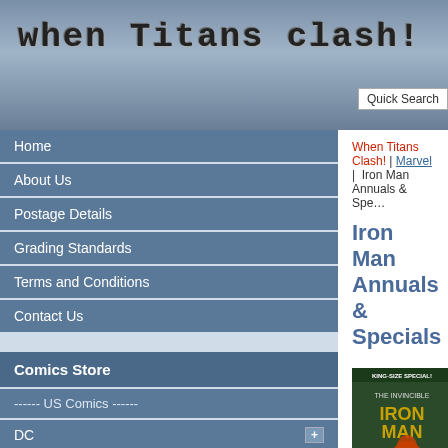when titans clash!
Quick Search
Home
About Us
Postage Details
Grading Standards
Terms and Conditions
Contact Us
Comics Store
------ US Comics ------
DC +
Marvel -
Alpha Flight
Amazing Adventures
Amazing Spider-Man
Amazing Spider-Man Annuals & Specials
Arrgh!
Astonishing Tales
Avengers
When Titans Clash! | Marvel | Iron Man Annuals & Specials
Iron Man Annuals & Specials
[Figure (photo): Cover of Iron Man Annual 1, King-Size Special, showing Iron Man in battle]
Iron Man Annual 1 (G- 1
Price: £3.00
Notes: Aug 1970.
Condition: G- (1.8). A large to first page, rusty bottom staple cover and also to the top cor
[Figure (photo): Cover of Iron Man Annual 3, King-Size Annual, showing Iron Man]
Iron Man Annual 3 (VF+
Price: £15.00